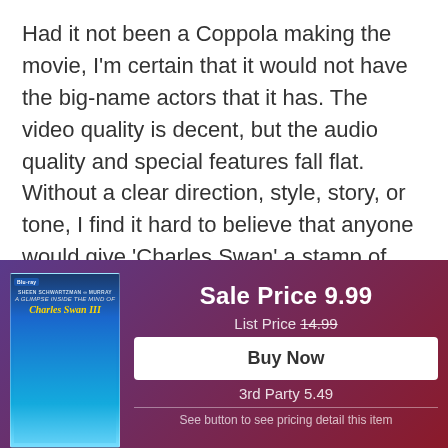Had it not been a Coppola making the movie, I'm certain that it would not have the big-name actors that it has. The video quality is decent, but the audio quality and special features fall flat. Without a clear direction, style, story, or tone, I find it hard to believe that anyone would give 'Charles Swan' a stamp of approval.
[Figure (other): Broken image placeholder followed by text: A Glimpse Inside the Mind of Charles Swan III]
[Figure (other): Promotional banner with movie cover image, sale price 9.99, list price 14.99 (strikethrough), Buy Now button, 3rd Party 5.49]